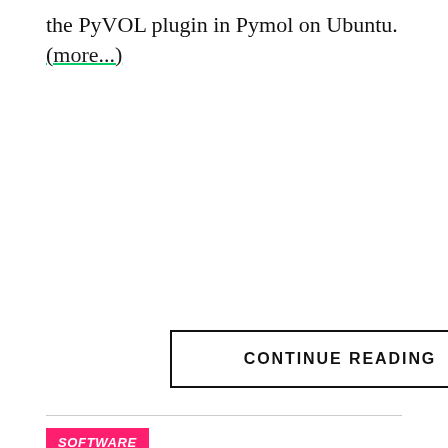the PyVOL plugin in Pymol on Ubuntu. (more...)
CONTINUE READING
SOFTWARE